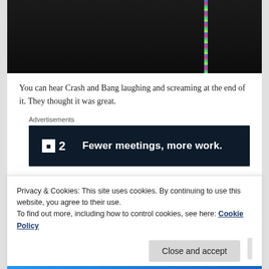[Figure (photo): Dark photo of a person, with a colorful vertical light strip on the right side]
You can hear Crash and Bang laughing and screaming at the end of it. They thought it was great.
Advertisements
[Figure (other): Advertisement banner: P2 logo with tagline 'Fewer meetings, more work.' on dark navy background]
After that, the boys went on a tractor train ride pulled by a
Privacy & Cookies: This site uses cookies. By continuing to use this website, you agree to their use.
To find out more, including how to control cookies, see here: Cookie Policy